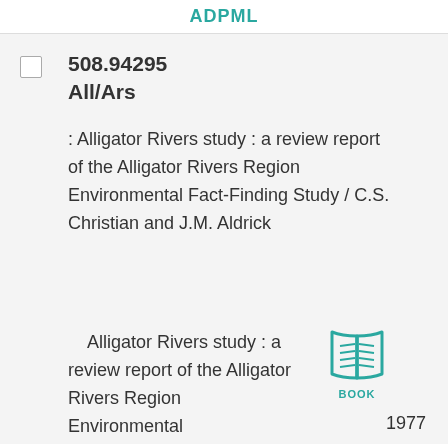ADPML
508.94295
All/Ars
: Alligator Rivers study : a review report of the Alligator Rivers Region Environmental Fact-Finding Study / C.S. Christian and J.M. Aldrick
Alligator Rivers study : a review report of the Alligator Rivers Region Environmental
[Figure (illustration): Book icon with teal color and label BOOK below it]
1977